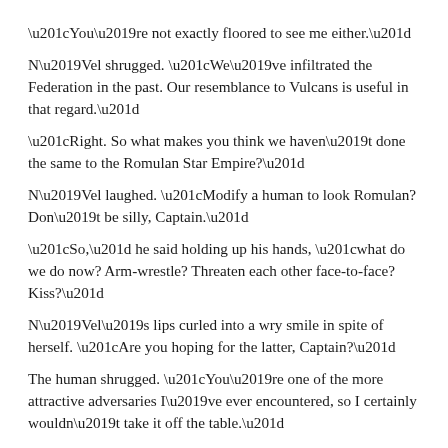“You’re not exactly floored to see me either.”
N’Vel shrugged. “We’ve infiltrated the Federation in the past. Our resemblance to Vulcans is useful in that regard.”
“Right. So what makes you think we haven’t done the same to the Romulan Star Empire?”
N’Vel laughed. “Modify a human to look Romulan? Don’t be silly, Captain.”
“So,” he said holding up his hands, “what do we do now? Arm-wrestle? Threaten each other face-to-face? Kiss?”
N’Vel’s lips curled into a wry smile in spite of herself. “Are you hoping for the latter, Captain?”
The human shrugged. “You’re one of the more attractive adversaries I’ve ever encountered, so I certainly wouldn’t take it off the table.”
“Is this the human method of negotiation: Open with flattery and flirtation?”
“I’m still not sure what we’re supposed to be doing here, so I figured I’d give it a try.”